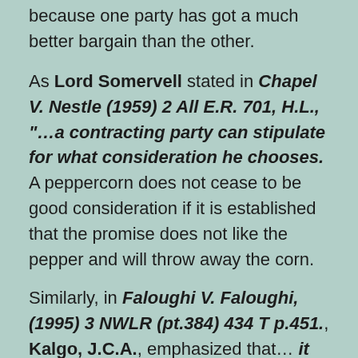because one party has got a much better bargain than the other.
As Lord Somervell stated in Chapel V. Nestle (1959) 2 All E.R. 701, H.L., "…a contracting party can stipulate for what consideration he chooses. A peppercorn does not cease to be good consideration if it is established that the promise does not like the pepper and will throw away the corn.
Similarly, in Faloughi V. Faloughi, (1995) 3 NWLR (pt.384) 434 T p.451., Kalgo, J.C.A., emphasized that… it was within the